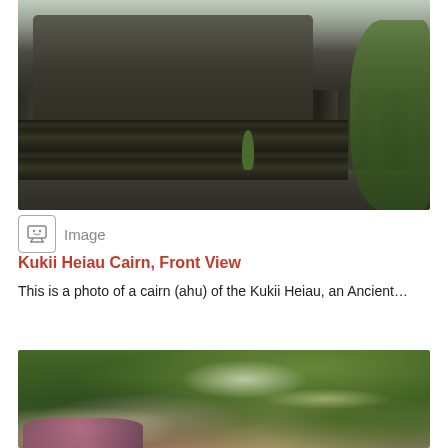[Figure (photo): Outdoor photograph showing lava rock stone wall (cairn/ahu) of Kukii Heiau against dark volcanic soil terrain, with green vegetation on the right side and misty sky in the background. Front view of the cairn structure.]
Image
Kukii Heiau Cairn, Front View
This is a photo of a cairn (ahu) of the Kukii Heiau, an Ancient...
[Figure (photo): Outdoor photograph showing dense tropical vegetation with lush green leaves, some purple/pink flowering plants at the bottom left, and bright sunlight filtering through the canopy. Appears to be a jungle or rainforest setting.]